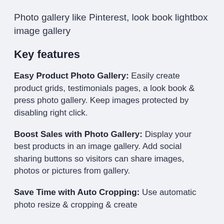Photo gallery like Pinterest, look book lightbox image gallery
Key features
Easy Product Photo Gallery: Easily create product grids, testimonials pages, a look book & press photo gallery. Keep images protected by disabling right click.
Boost Sales with Photo Gallery: Display your best products in an image gallery. Add social sharing buttons so visitors can share images, photos or pictures from gallery.
Save Time with Auto Cropping: Use automatic photo resize & cropping & create